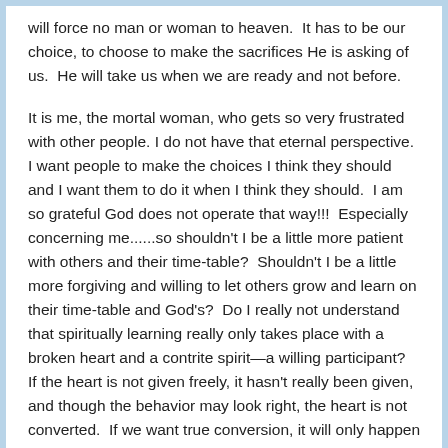will force no man or woman to heaven.  It has to be our choice, to choose to make the sacrifices He is asking of us.  He will take us when we are ready and not before.
It is me, the mortal woman, who gets so very frustrated with other people. I do not have that eternal perspective.  I want people to make the choices I think they should and I want them to do it when I think they should.  I am so grateful God does not operate that way!!!  Especially concerning me......so shouldn't I be a little more patient with others and their time-table?  Shouldn't I be a little more forgiving and willing to let others grow and learn on their time-table and God's?  Do I really not understand that spiritually learning really only takes place with a broken heart and a contrite spirit—a willing participant?  If the heart is not given freely, it hasn't really been given, and though the behavior may look right, the heart is not converted.  If we want true conversion, it will only happen as the individual makes the sacrifice to give it freely.  Only then do we approximate the ultimate sacrifice of